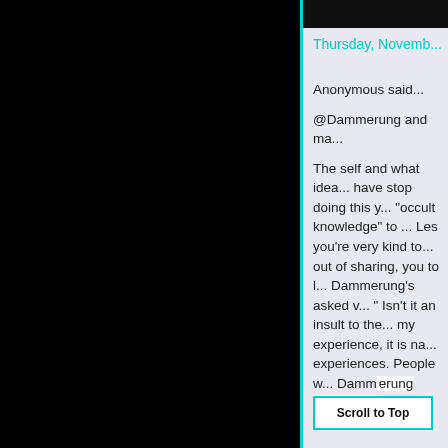Thursday, Novemb...
Anonymous said...

@Dammerung and ma...

The self and what idea... have stop doing this y... "occult knowledge" to ... Les you're very kind to... out of sharing, you to l... Dammerung's asked v... " Isn't it an insult to the... my experience, it is na... experiences. People w... Dammerung look back... More...